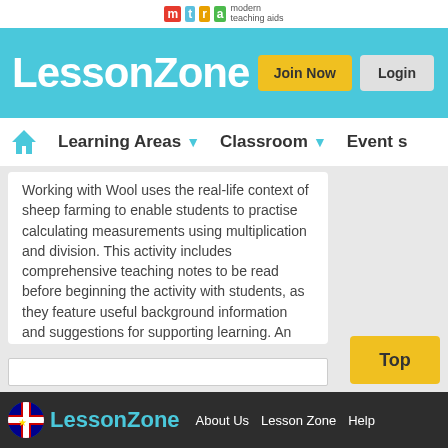mtra modern teaching aids
[Figure (logo): LessonZone logo in teal header with Join Now and Login buttons]
Learning Areas ▾   Classroom ▾   Events
Working with Wool uses the real-life context of sheep farming to enable students to practise calculating measurements using multiplication and division. This activity includes comprehensive teaching notes to be read before beginning the activity with students, as they feature useful background information and suggestions for supporting learning. An answer sheet is ... More
LessonZone   About Us   Lesson Zone   Help